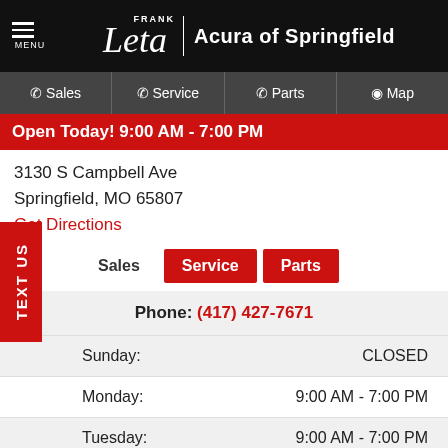Frank Leta Acura of Springfield
Sales  Service  Parts  Map
Open Today! 9:00 AM - 7:00 PM
3130 S Campbell Ave
Springfield, MO 65807
Get Directions
Sales  Service  Parts
Phone: (417) 427-7671
| Day | Hours |
| --- | --- |
| Sunday: | CLOSED |
| Monday: | 9:00 AM - 7:00 PM |
| Tuesday: | 9:00 AM - 7:00 PM |
| Wednesday: | 9:00 AM - 7:00 PM |
| Thursday: | 9:00 AM - 7:00 PM |
| Friday: | 9:00 AM - 6:00 PM |